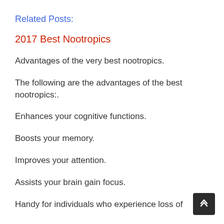Related Posts:
2017 Best Nootropics
Advantages of the very best nootropics.
The following are the advantages of the best nootropics:.
Enhances your cognitive functions.
Boosts your memory.
Improves your attention.
Assists your brain gain focus.
Handy for individuals who experience loss of